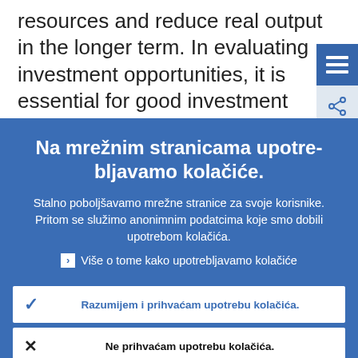resources and reduce real output in the longer term. In evaluating investment opportunities, it is essential for good investment decisions, that firms have
Na mrežnim stranicama upotrebljavamo kolačiće.
Stalno poboljšavamo mrežne stranice za svoje korisnike. Pritom se služimo anonimnim podatcima koje smo dobili upotrebom kolačića.
Više o tome kako upotrebljavamo kolačiće
Razumijem i prihvaćam upotrebu kolačića.
Ne prihvaćam upotrebu kolačića.